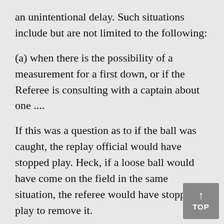an unintentional delay. Such situations include but are not limited to the following:
(a) when there is the possibility of a measurement for a first down, or if the Referee is consulting with a captain about one ....
If this was a question as to if the ball was caught, the replay official would have stopped play. Heck, if a loose ball would have come on the field in the same situation, the referee would have stopped play to remove it.
Secondly, you state that Rule 15-2-1 says that “Triplette’s signal wins out.” While 15-2-1 makes Triplette the “final authority”, Rule 6 states ...